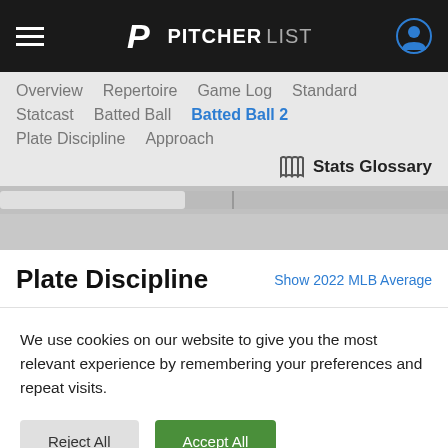PITCHERLIST
Overview
Repertoire
Game Log
Standard
Statcast
Batted Ball
Batted Ball 2
Plate Discipline
Approach
Stats Glossary
Plate Discipline
Show 2022 MLB Average
We use cookies on our website to give you the most relevant experience by remembering your preferences and repeat visits.
Reject All
Accept All